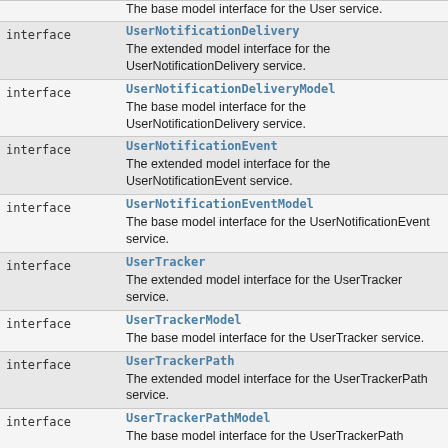|  |  |
| --- | --- |
| interface | UserNotificationDelivery
The extended model interface for the UserNotificationDelivery service. |
| interface | UserNotificationDeliveryModel
The base model interface for the UserNotificationDelivery service. |
| interface | UserNotificationEvent
The extended model interface for the UserNotificationEvent service. |
| interface | UserNotificationEventModel
The base model interface for the UserNotificationEvent service. |
| interface | UserTracker
The extended model interface for the UserTracker service. |
| interface | UserTrackerModel
The base model interface for the UserTracker service. |
| interface | UserTrackerPath
The extended model interface for the UserTrackerPath service. |
| interface | UserTrackerPathModel
The base model interface for the UserTrackerPath service. |
| interface | VirtualHost
The extended model interface for the VirtualHost |